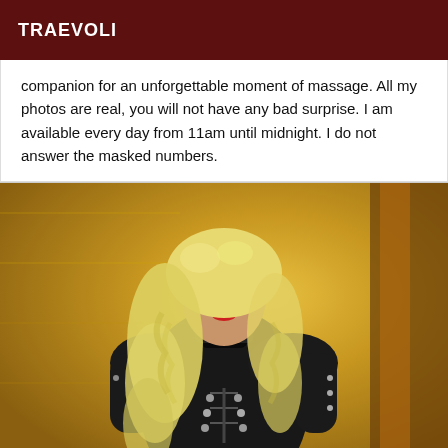TRAEVOLI
companion for an unforgettable moment of massage. All my photos are real, you will not have any bad surprise. I am available every day from 11am until midnight. I do not answer the masked numbers.
[Figure (photo): A person with long curly blonde hair wearing a black leather outfit, posing against a warm golden/yellow background.]